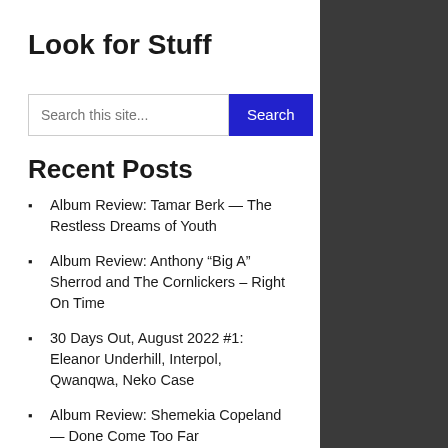Look for Stuff
Search this site...
Recent Posts
Album Review: Tamar Berk — The Restless Dreams of Youth
Album Review: Anthony “Big A” Sherrod and The Cornlickers – Right On Time
30 Days Out, August 2022 #1: Eleanor Underhill, Interpol, Qwanqwa, Neko Case
Album Review: Shemekia Copeland — Done Come Too Far
Album Review: Nick Frater — Aerodrome Motel